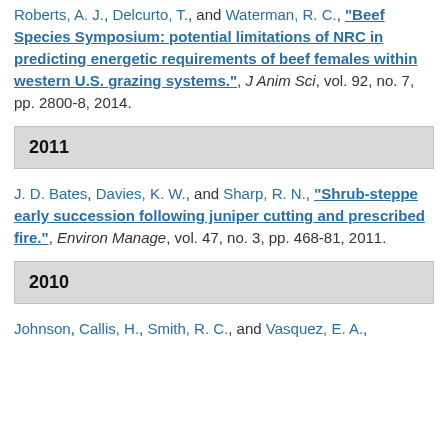Roberts, A. J., Delcurto, T., and Waterman, R. C., "Beef Species Symposium: potential limitations of NRC in predicting energetic requirements of beef females within western U.S. grazing systems.", J Anim Sci, vol. 92, no. 7, pp. 2800-8, 2014.
2011
J. D. Bates, Davies, K. W., and Sharp, R. N., "Shrub-steppe early succession following juniper cutting and prescribed fire.", Environ Manage, vol. 47, no. 3, pp. 468-81, 2011.
2010
Johnson, Callis, H., Smith, R. C., and Vasquez, E. A., ...